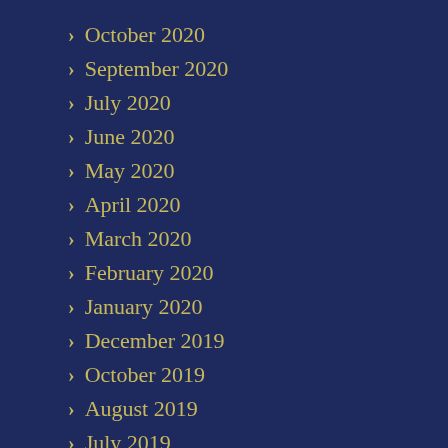October 2020
September 2020
July 2020
June 2020
May 2020
April 2020
March 2020
February 2020
January 2020
December 2019
October 2019
August 2019
July 2019
May 2019